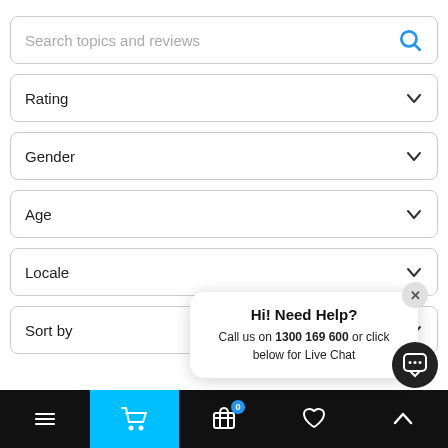[Figure (screenshot): Search bar with placeholder text 'Search topics and reviews' and a blue search icon on the right]
Rating
Gender
Age
Locale
Sort by
Hi! Need Help?
Call us on 1300 169 600 or click below for Live Chat
Navigation bar with menu, cart (0), basket, heart, and up-arrow icons